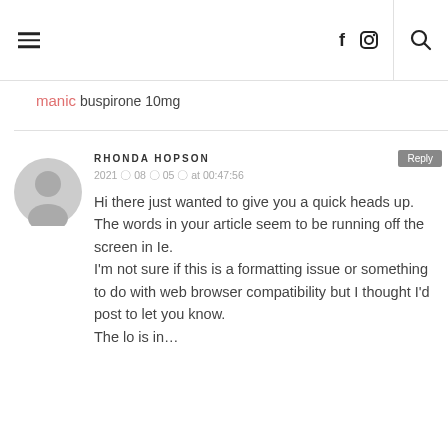navigation header with hamburger menu, social icons (f, instagram), and search
manic buspirone 10mg
RHONDA HOPSON
2021 〇 08 〇 05 〇 at 00:47:56
Hi there just wanted to give you a quick heads up. The words in your article seem to be running off the screen in Ie. I'm not sure if this is a formatting issue or something to do with web browser compatibility but I thought I'd post to let you know.
The lo is in...